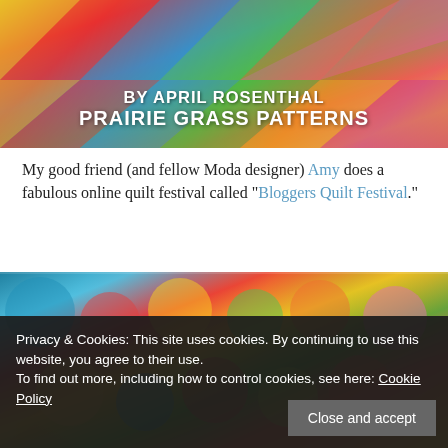[Figure (photo): Colorful patchwork quilt pattern with text overlay reading 'BY APRIL ROSENTHAL PRAIRIE GRASS PATTERNS' in white bold letters]
My good friend (and fellow Moda designer) Amy does a fabulous online quilt festival called “Bloggers Quilt Festival.”
[Figure (photo): Colorful patchwork quilt pattern with various floral and geometric fabric prints]
Privacy & Cookies: This site uses cookies. By continuing to use this website, you agree to their use.
To find out more, including how to control cookies, see here: Cookie Policy
Close and accept